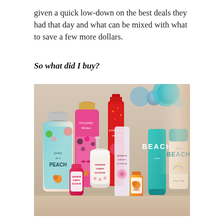given a quick low-down on the best deals they had that day and what can be mixed with what to save a few more dollars.
So what did I buy?
[Figure (photo): A collection of Bath & Body Works products arranged on a wooden surface, including Pretty as a Peach body lotion, Thousand Wishes shower gel and fragrance mist, Japanese Cherry Blossom foaming hand soap and body mist, At the Beach hand cream, and various mini hand sanitizers. Background shows teal and blue decorative balls.]